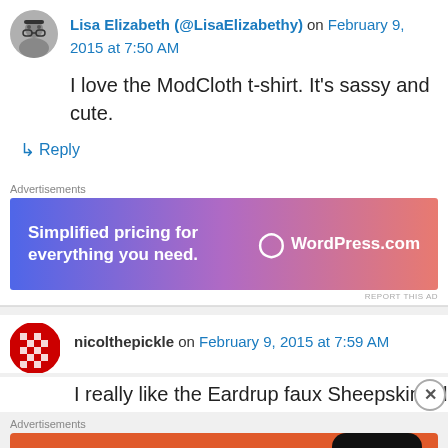Lisa Elizabeth (@LisaElizabethy) on February 9, 2015 at 7:50 AM
I love the ModCloth t-shirt. It's sassy and cute.
↳ Reply
Advertisements
[Figure (screenshot): WordPress.com advertisement: Simplified pricing for everything you need.]
REPORT THIS AD
nicolthepickle on February 9, 2015 at 7:59 AM
I really like the Eardrup faux Sheepskin a lot. I've
Advertisements
[Figure (screenshot): DuckDuckGo advertisement: Search, browse, and email with more privacy. All in One Free App.]
REPORT THIS AD